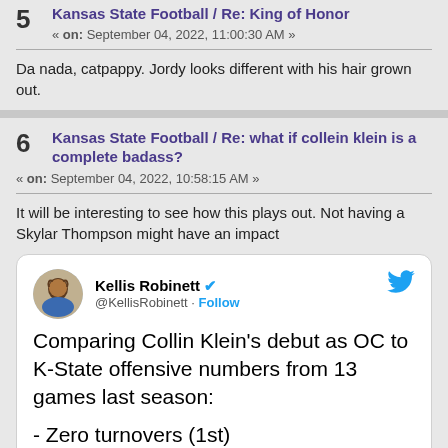5 Kansas State Football / Re: King of Honor
« on: September 04, 2022, 11:00:30 AM »
Da nada, catpappy. Jordy looks different with his hair grown out.
6 Kansas State Football / Re: what if collein klein is a complete badass?
« on: September 04, 2022, 10:58:15 AM »
It will be interesting to see how this plays out. Not having a Skylar Thompson might have an impact
[Figure (screenshot): Embedded tweet from @KellisRobinett with blue verified checkmark and Twitter bird logo. Tweet text: Comparing Collin Klein's debut as OC to K-State offensive numbers from 13 games last season: - Zero turnovers (1st) - 79% completions (2nd)]